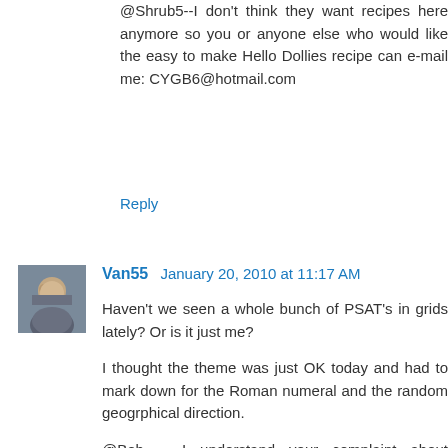@Shrub5--I don't think they want recipes here anymore so you or anyone else who would like the easy to make Hello Dollies recipe can e-mail me: CYGB6@hotmail.com
Reply
Van55  January 20, 2010 at 11:17 AM
Haven't we seen a whole bunch of PSAT's in grids lately? Or is it just me?
I thought the theme was just OK today and had to mark down for the Roman numeral and the random geogrphical direction.
@Bob -- I understand your complaint about "random" proper names, but they don't bother me much unless they are really obscure, unlike SOLTI and RONA.
@Orange: Your aunt's remark was just "silly" -- much like someone constantly pointing out crap fill on crossword blogs. LOL